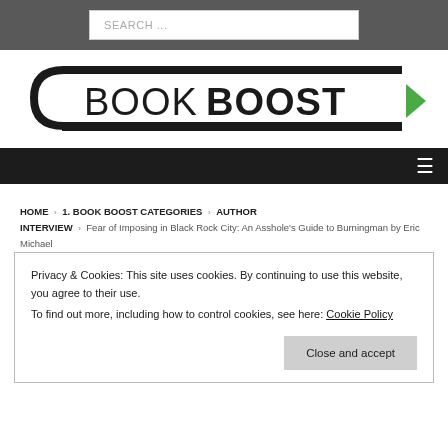SEARCH ...
[Figure (logo): BookBoost logo with stylized C bracket, BOOK in regular weight and BOOST in bold, followed by a green right-pointing triangle arrow]
Navigation menu (hamburger icon)
HOME > 1. BOOK BOOST CATEGORIES > AUTHOR INTERVIEW > Fear of Imposing in Black Rock City: An Asshole's Guide to Burningman by Eric Michael
Privacy & Cookies: This site uses cookies. By continuing to use this website, you agree to their use.
To find out more, including how to control cookies, see here: Cookie Policy
Close and accept